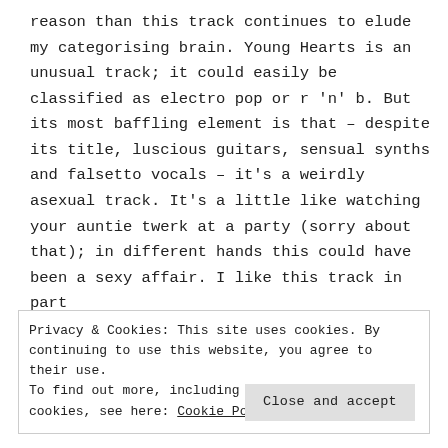reason than this track continues to elude my categorising brain. Young Hearts is an unusual track; it could easily be classified as electro pop or r 'n' b. But its most baffling element is that – despite its title, luscious guitars, sensual synths and falsetto vocals – it's a weirdly asexual track. It's a little like watching your auntie twerk at a party (sorry about that); in different hands this could have been a sexy affair. I like this track in part
Privacy & Cookies: This site uses cookies. By continuing to use this website, you agree to their use. To find out more, including how to control cookies, see here: Cookie Policy